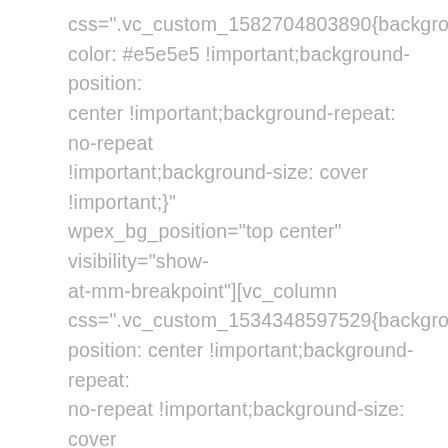css=".vc_custom_1582704803890{background-color: #e5e5e5 !important;background-position: center !important;background-repeat: no-repeat !important;background-size: cover !important;}" wpex_bg_position="top center" visibility="show-at-mm-breakpoint"][vc_column css=".vc_custom_1534348597529{background-position: center !important;background-repeat: no-repeat !important;background-size: cover !important;}"][vc_single_image image="5778"] [vcex_heading text="Forstå din kunde" responsive_text="true" tag="h2" text_align="left" font_size="70" color="#333333" line_height="1" text_transform="uppercase" css=".vc_custom_1582704948790{padding-top: